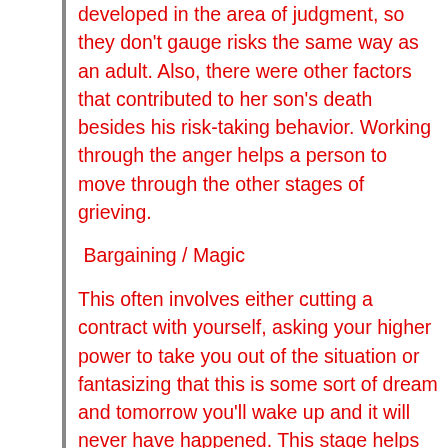developed in the area of judgment, so they don't gauge risks the same way as an adult. Also, there were other factors that contributed to her son's death besides his risk-taking behavior. Working through the anger helps a person to move through the other stages of grieving.
Bargaining / Magic
This often involves either cutting a contract with yourself, asking your higher power to take you out of the situation or fantasizing that this is some sort of dream and tomorrow you'll wake up and it will never have happened. This stage helps the person